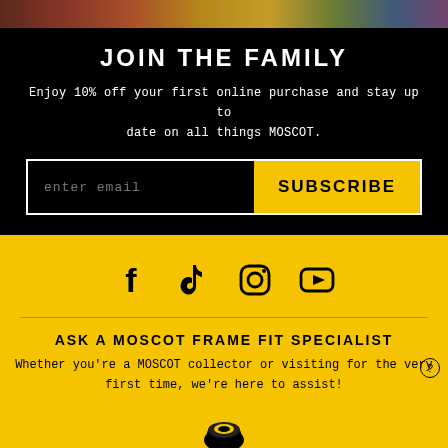[Figure (photo): Photo strip at top of page showing people wearing colorful eyeglasses]
JOIN THE FAMILY
Enjoy 10% off your first online purchase and stay up to date on all things MOSCOT.
enter email | SUBSCRIBE
[Figure (infographic): Social media icons: Facebook, TikTok, Instagram, YouTube on yellow background]
ASK A MOSCOT FRAME FIT SPECIALIST
Whether you're a MOSCOT collector or visiting for the very first time, we're here to assist!
[Figure (illustration): Telephone icon at bottom of yellow section]